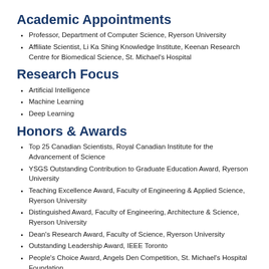Academic Appointments
Professor, Department of Computer Science, Ryerson University
Affiliate Scientist, Li Ka Shing Knowledge Institute, Keenan Research Centre for Biomedical Science, St. Michael's Hospital
Research Focus
Artificial Intelligence
Machine Learning
Deep Learning
Honors & Awards
Top 25 Canadian Scientists, Royal Canadian Institute for the Advancement of Science
YSGS Outstanding Contribution to Graduate Education Award, Ryerson University
Teaching Excellence Award, Faculty of Engineering & Applied Science, Ryerson University
Distinguished Award, Faculty of Engineering, Architecture & Science, Ryerson University
Dean's Research Award, Faculty of Science, Ryerson University
Outstanding Leadership Award, IEEE Toronto
People's Choice Award, Angels Den Competition, St. Michael's Hospital Foundation